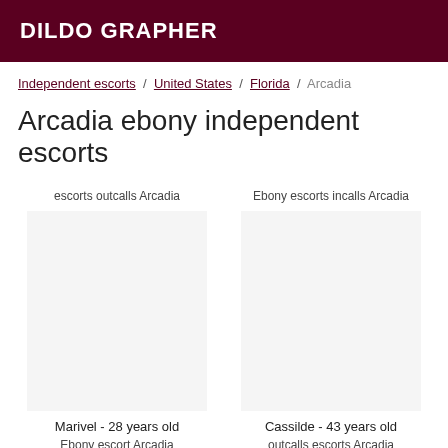DILDO GRAPHER
Independent escorts / United States / Florida / Arcadia
Arcadia ebony independent escorts
escorts outcalls Arcadia
Ebony escorts incalls Arcadia
Marivel - 28 years old
Ebony escort Arcadia
Cassilde - 43 years old
outcalls escorts Arcadia